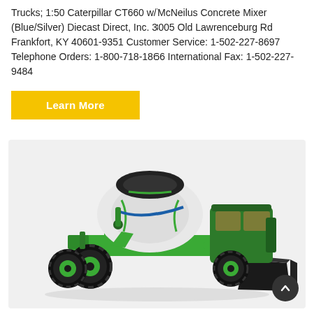Trucks; 1:50 Caterpillar CT660 w/McNeilus Concrete Mixer (Blue/Silver) Diecast Direct, Inc. 3005 Old Lawrenceburg Rd Frankfort, KY 40601-9351 Customer Service: 1-502-227-8697 Telephone Orders: 1-800-718-1866 International Fax: 1-502-227-9484
Learn More
[Figure (photo): A green self-loading concrete mixer vehicle with a large rotating drum on the back and a front loading bucket. The vehicle has large black rubber tires with green rims, and a cab visible on the right side. The mixer drum is white and dark grey. The background is light grey.]